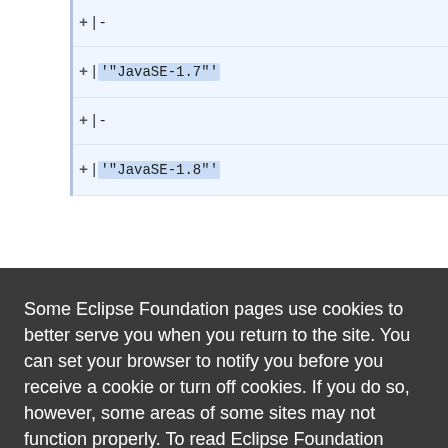+|-
+|'"JavaSE-1.7"'
+|-
+|'"JavaSE-1.8"'
Some Eclipse Foundation pages use cookies to better serve you when you return to the site. You can set your browser to notify you before you receive a cookie or turn off cookies. If you do so, however, some areas of some sites may not function properly. To read Eclipse Foundation Privacy Policy
click here.
Decline
Allow cookies
org/eclipse/updates/4.3